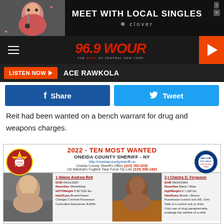[Figure (screenshot): Advertisement banner: Meet with Local Singles - Clover app]
[Figure (logo): 96.9 WOUR - The Rock of Central New York radio station logo with hamburger menu and play button]
[Figure (screenshot): Listen Now button with ACE RAWKOLA text]
[Figure (infographic): Facebook Share and Twitter Tweet social buttons]
Reit had been wanted on a bench warrant for drug and weapons charges.
[Figure (infographic): 2022 Ten Most Wanted - Oneida County Sheriff NY flyer with two mugshots. 1.) Name Andrew Reit DOB 04/21/1987 Race/Sex White/Male HGT/Weight 5'30"/220 lbs Hair/Eyes Brown/Green Charges Criminal Possesion Controlled Substance 3rd/5th. 2.) Charles D. Ferguson DOB 09/24/1984 Race/Sex Black / Male Hgt/Weight 6' / 160 lbs Hair/Eyes Brown / Brown Possession control sub 3/5, Crim Sale of a control sub to child, Crim use of drug paraphernalia, endange the welfare of a child]